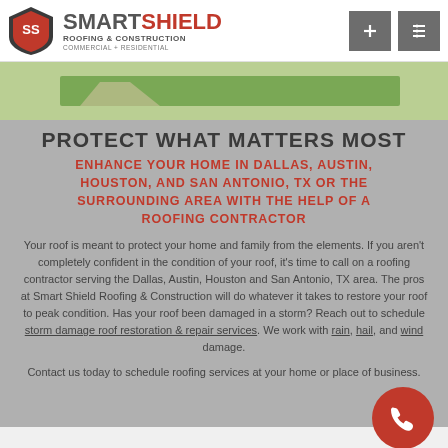SmartShield Roofing & Construction — Commercial + Residential
[Figure (photo): Aerial/landscape view of green lawn and driveway]
PROTECT WHAT MATTERS MOST
ENHANCE YOUR HOME IN DALLAS, AUSTIN, HOUSTON, AND SAN ANTONIO, TX OR THE SURROUNDING AREA WITH THE HELP OF A ROOFING CONTRACTOR
Your roof is meant to protect your home and family from the elements. If you aren't completely confident in the condition of your roof, it's time to call on a roofing contractor serving the Dallas, Austin, Houston and San Antonio, TX area. The pros at Smart Shield Roofing & Construction will do whatever it takes to restore your roof to peak condition. Has your roof been damaged in a storm? Reach out to schedule storm damage roof restoration & repair services. We work with rain, hail, and wind damage.
Contact us today to schedule roofing services at your home or place of business.